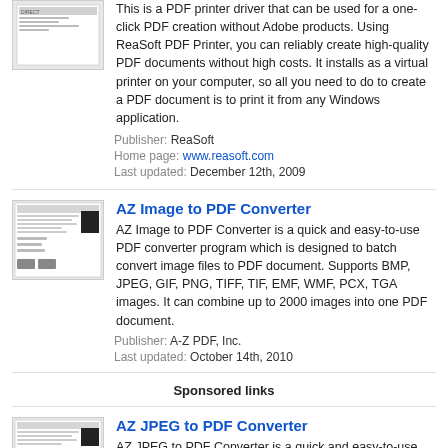This is a PDF printer driver that can be used for a one-click PDF creation without Adobe products. Using ReaSoft PDF Printer, you can reliably create high-quality PDF documents without high costs. It installs as a virtual printer on your computer, so all you need to do to create a PDF document is to print it from any Windows application.
Publisher: ReaSoft
Home page: www.reasoft.com
Last updated: December 12th, 2009
[Figure (screenshot): Screenshot thumbnail of ReaSoft PDF Printer software]
AZ Image to PDF Converter
AZ Image to PDF Converter is a quick and easy-to-use PDF converter program which is designed to batch convert image files to PDF document. Supports BMP, JPEG, GIF, PNG, TIFF, TIF, EMF, WMF, PCX, TGA images. It can combine up to 2000 images into one PDF document.
Publisher: A-Z PDF, Inc.
Last updated: October 14th, 2010
Sponsored links
[Figure (screenshot): Screenshot thumbnail of AZ Image to PDF Converter software]
AZ JPEG to PDF Converter
AZ JPEG to PDF Converter is a quick and easy-to-use PDF converter program designed for converting batch of images.
[Figure (screenshot): Screenshot thumbnail of AZ JPEG to PDF Converter software]